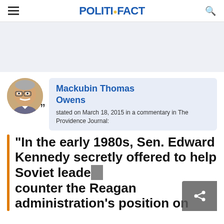POLITIFACT
[Figure (photo): Portrait photo of Mackubin Thomas Owens, an older man with glasses and a white mustache]
Mackubin Thomas Owens
stated on March 18, 2015 in a commentary in The Providence Journal:
"In the early 1980s, Sen. Edward Kennedy secretly offered to help Soviet leaders counter the Reagan administration's position on